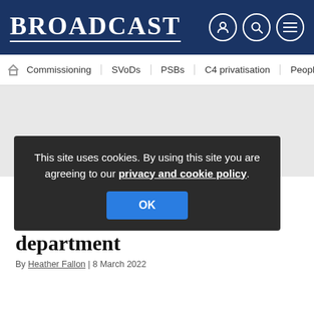BROADCAST
Commissioning | SVoDs | PSBs | C4 privatisation | Peopl
[Figure (other): Grey advertisement placeholder area]
This site uses cookies. By using this site you are agreeing to our privacy and cookie policy.
IT
IT
department
By Heather Fallon | 8 March 2022